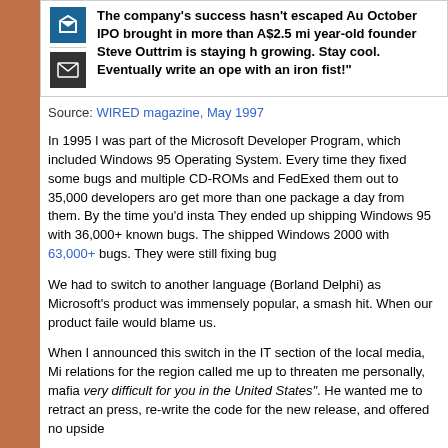[Figure (other): Quote box with social media icons (logo icon and email icon) and bold text about company success, IPO, founder Steve Outtrim]
Source: WIRED magazine, May 1997
In 1995 I was part of the Microsoft Developer Program, which included Windows 95 Operating System. Every time they fixed some bugs and multiple CD-ROMs and FedExed them out to 35,000 developers around get more than one package a day from them. By the time you'd installed They ended up shipping Windows 95 with 36,000+ known bugs. The shipped Windows 2000 with 63,000+ bugs. They were still fixing bugs
We had to switch to another language (Borland Delphi) as Microsoft's product was immensely popular, a smash hit. When our product failed would blame us.
When I announced this switch in the IT section of the local media, Microsoft relations for the region called me up to threaten me personally, mafia style very difficult for you in the United States". He wanted me to retract and press, re-write the code for the new release, and offered no upside